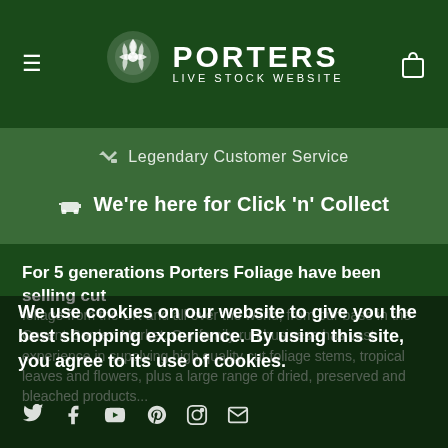PORTERS LIVE STOCK WEBSITE
Legendary Customer Service
We're here for Click 'n' Collect
For 5 generations Porters Foliage have been selling cut foliage from the UK and all over the world, from our base in the Covent Garden Market. Our family run business has vast experience in supplying high quality cut foliage stems, tropical leaves and flowers, plus a large range of dried, preserved and bleached products...
We use cookies on our website to give you the best shopping experience. By using this site, you agree to its use of cookies.
I agree